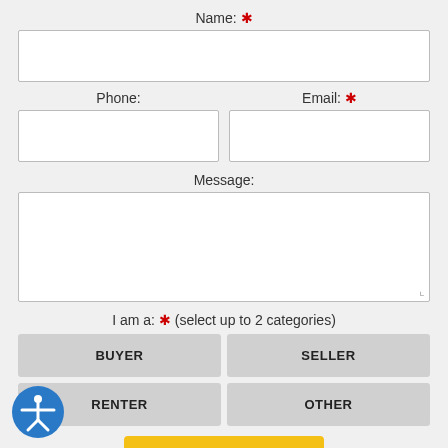Name: *
Phone:
Email: *
Message:
I am a: * (select up to 2 categories)
BUYER
SELLER
RENTER
OTHER
Send
[Figure (illustration): Accessibility icon — blue circle with white figure of a person with arms outstretched]